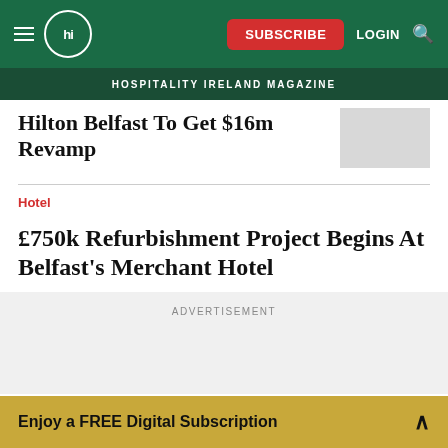hi HOSPITALITY IRELAND MAGAZINE — SUBSCRIBE LOGIN
Hilton Belfast To Get $16m Revamp
Hotel
£750k Refurbishment Project Begins At Belfast's Merchant Hotel
ADVERTISEMENT
Enjoy a FREE Digital Subscription